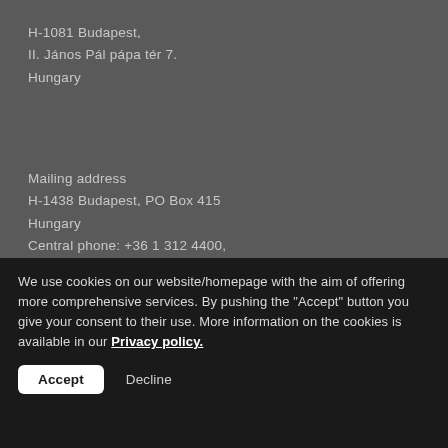H-1081 Budapest,
II. János Pál pápa tér 7.
Hungary
Mailing address
H-1438 Budapest, PO Box 415
Hungary
Central phone: +36 1 312 4400,
Fax: +36 1 474 5534
e-mail: hipo@hipo.gov.hu
© 1996-2018 Hungarian Intellectual Property Office
Bohl Software Consulting Kft. | Stalker Studio
Web page satisfaction survey
Privacy policy
Satisfaction survey
We use cookies on our website/homepage with the aim of offering more comprehensive services. By pushing the "Accept" button you give your consent to their use. More information on the cookies is available in our Privacy policy.
Accept   Decline